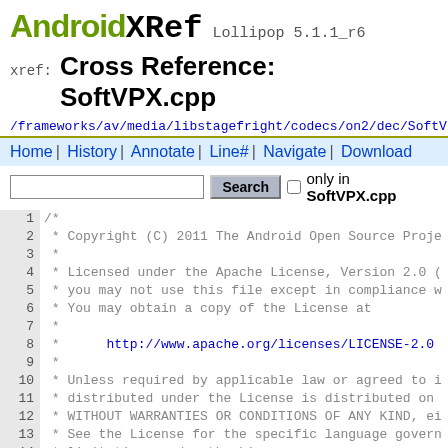AndroidXRef Lollipop 5.1.1_r6
xref: Cross Reference: SoftVPX.cpp
/frameworks/av/media/libstagefright/codecs/on2/dec/SoftVPX.cpp
Home | History | Annotate | Line# | Navigate | Download
Search  only in SoftVPX.cpp
1  /*
2   * Copyright (C) 2011 The Android Open Source Proje
3   *
4   * Licensed under the Apache License, Version 2.0 (
5   * you may not use this file except in compliance w
6   * You may obtain a copy of the License at
7   *
8   *      http://www.apache.org/licenses/LICENSE-2.0
9   *
10  * Unless required by applicable law or agreed to i
11  * distributed under the License is distributed on
12  * WITHOUT WARRANTIES OR CONDITIONS OF ANY KIND, ei
13  * See the License for the specific language govern
14  * limitations under the License.
15  */
16
17  //#define LOG_NDEBUG 0
18  #define LOG_TAG "SoftVPX"
19  #include <utils/Log.h>